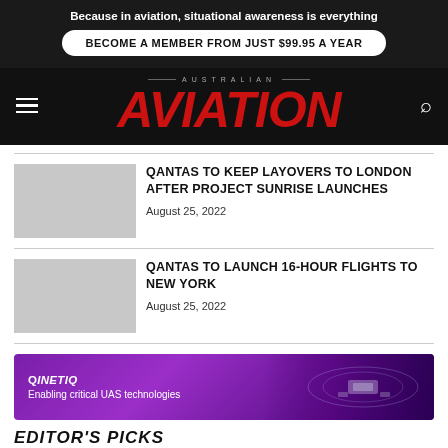Because in aviation, situational awareness is everything
BECOME A MEMBER FROM JUST $99.95 A YEAR
AUSTRALIAN AVIATION
QANTAS TO KEEP LAYOVERS TO LONDON AFTER PROJECT SUNRISE LAUNCHES
August 25, 2022
QANTAS TO LAUNCH 16-HOUR FLIGHTS TO NEW YORK
August 25, 2022
[Figure (infographic): QinetiQ advertisement: 'Enabling critical UAS technologies' with purple gradient background and drone imagery]
EDITOR'S PICKS